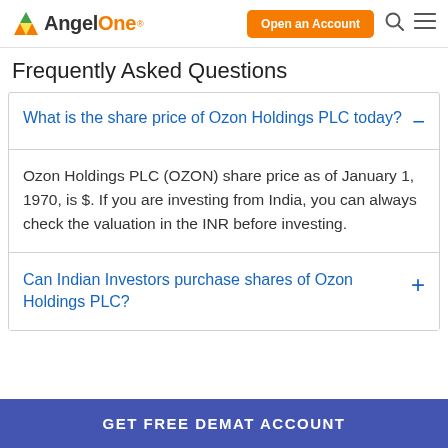AngelOne — Open an Account
Frequently Asked Questions
What is the share price of Ozon Holdings PLC today?
Ozon Holdings PLC (OZON) share price as of January 1, 1970, is $. If you are investing from India, you can always check the valuation in the INR before investing.
Can Indian Investors purchase shares of Ozon Holdings PLC?
GET FREE DEMAT ACCOUNT